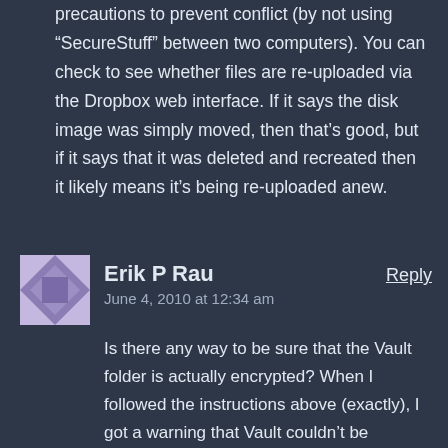precautions to prevent conflict (by not using “SecureStuff” between two computers). You can check to see whether files are re-uploaded via the Dropbox web interface. If it says the disk image was simply moved, then that’s good, but if it says that it was deleted and recreated then it likely means it’s being re-uploaded anew.
Erik P Rau
June 4, 2010 at 12:34 am
Reply
Is there any way to be sure that the Vault folder is actually encrypted? When I followed the instructions above (exactly), I got a warning that Vault couldn’t be encrypted because it couldn’t get the password from the keychain. I had created a password for Vault and when I set up Espionage, I set up the prefs so that it stores passwords on the